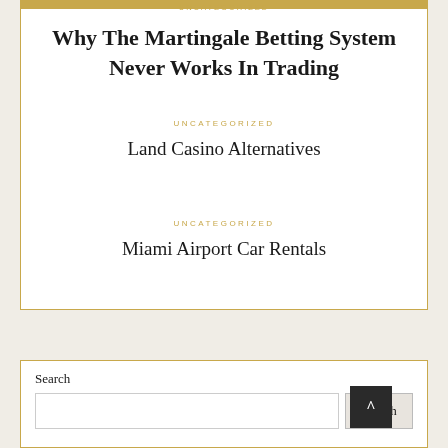UNCATEGORIZED
Why The Martingale Betting System Never Works In Trading
UNCATEGORIZED
Land Casino Alternatives
UNCATEGORIZED
Miami Airport Car Rentals
Search
Search